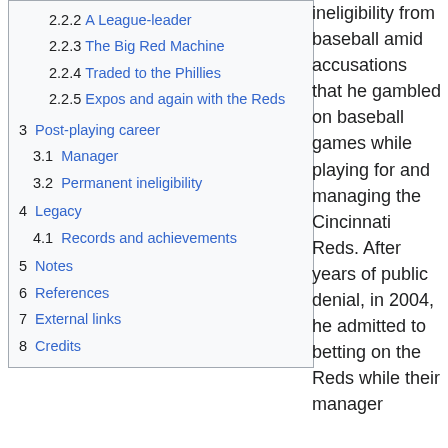2.2.2 A League-leader
2.2.3 The Big Red Machine
2.2.4 Traded to the Phillies
2.2.5 Expos and again with the Reds
3 Post-playing career
3.1 Manager
3.2 Permanent ineligibility
4 Legacy
4.1 Records and achievements
5 Notes
6 References
7 External links
8 Credits
ineligibility from baseball amid accusations that he gambled on baseball games while playing for and managing the Cincinnati Reds. After years of public denial, in 2004, he admitted to betting on the Reds while their manager